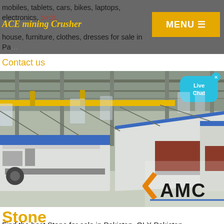mobiles, tablets, cars, bikes, laptops, electronics, birds, house, furniture, clothes, dresses for sale in Pa...
ACE mining Crusher
MENU ≡
Contact us
[Figure (photo): Industrial factory floor with large mining/crushing machinery (white and blue) and yellow overhead crane. AMC logo visible in lower right corner. Live Chat bubble in upper right.]
Stone
Find the best Stone for sale in Pakistan. OLX Pakistan offers online local classified ads for Stone. Post your